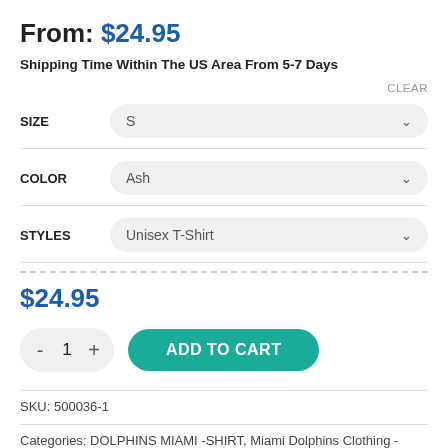From: $24.95
Shipping Time Within The US Area From 5-7 Days
CLEAR
SIZE   S
COLOR   Ash
STYLES   Unisex T-Shirt
$24.95
- 1 +   ADD TO CART
SKU: 500036-1
Categories: DOLPHINS MIAMI -SHIRT, Miami Dolphins Clothing - Trending T-SHIRT